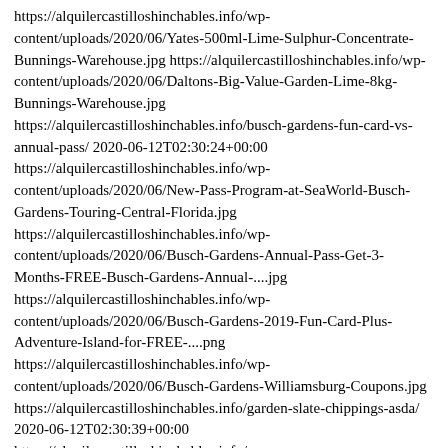https://alquilercastilloshinchables.info/wp-content/uploads/2020/06/Yates-500ml-Lime-Sulphur-Concentrate-Bunnings-Warehouse.jpg https://alquilercastilloshinchables.info/wp-content/uploads/2020/06/Daltons-Big-Value-Garden-Lime-8kg-Bunnings-Warehouse.jpg https://alquilercastilloshinchables.info/busch-gardens-fun-card-vs-annual-pass/ 2020-06-12T02:30:24+00:00 https://alquilercastilloshinchables.info/wp-content/uploads/2020/06/New-Pass-Program-at-SeaWorld-Busch-Gardens-Touring-Central-Florida.jpg https://alquilercastilloshinchables.info/wp-content/uploads/2020/06/Busch-Gardens-Annual-Pass-Get-3-Months-FREE-Busch-Gardens-Annual-....jpg https://alquilercastilloshinchables.info/wp-content/uploads/2020/06/Busch-Gardens-2019-Fun-Card-Plus-Adventure-Island-for-FREE-....png https://alquilercastilloshinchables.info/wp-content/uploads/2020/06/Busch-Gardens-Williamsburg-Coupons.jpg https://alquilercastilloshinchables.info/garden-slate-chippings-asda/ 2020-06-12T02:30:39+00:00 https://alquilercastilloshinchables.info/wp-content/uploads/2020/06/Asda-Bark-Chips.-Stones-included.-YouTube-2.jpg https://alquilercastilloshinchables.info/wp-content/uploads/2020/06/garden-aggregates-uk-Google-Search-Blue-slate-chippings-Slate-....jpg